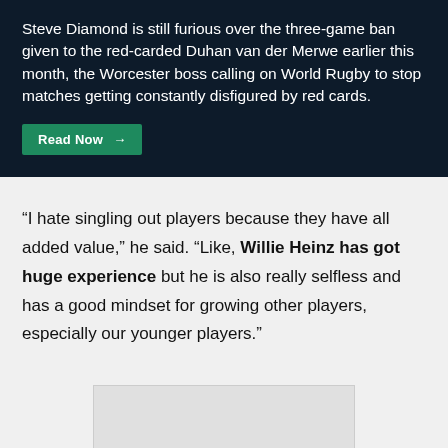Steve Diamond is still furious over the three-game ban given to the red-carded Duhan van der Merwe earlier this month, the Worcester boss calling on World Rugby to stop matches getting constantly disfigured by red cards.
Read Now →
“I hate singling out players because they have all added value,” he said. “Like, Willie Heinz has got huge experience but he is also really selfless and has a good mindset for growing other players, especially our younger players.”
[Figure (photo): Placeholder image area at the bottom of the page, light gray rectangle]